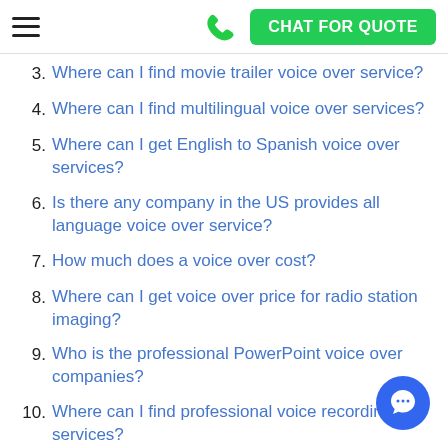CHAT FOR QUOTE
3. Where can I find movie trailer voice over service?
4. Where can I find multilingual voice over services?
5. Where can I get English to Spanish voice over services?
6. Is there any company in the US provides all language voice over service?
7. How much does a voice over cost?
8. Where can I get voice over price for radio station imaging?
9. Who is the professional PowerPoint voice over companies?
10. Where can I find professional voice recording services?
11. How can I get professional radio voice over services?
12. Which agency those do Power Point presentation with voice over?